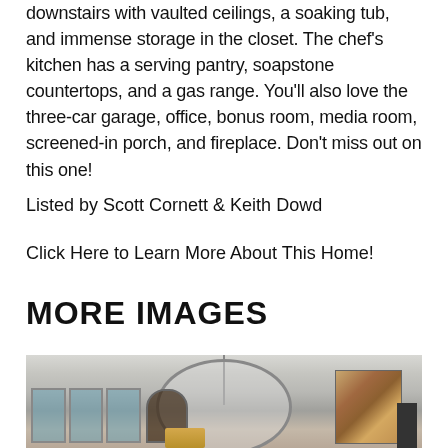downstairs with vaulted ceilings, a soaking tub, and immense storage in the closet. The chef's kitchen has a serving pantry, soapstone countertops, and a gas range. You'll also love the three-car garage, office, bonus room, media room, screened-in porch, and fireplace. Don't miss out on this one!
Listed by Scott Cornett & Keith Dowd
Click Here to Learn More About This Home!
MORE IMAGES
[Figure (photo): Interior photo of a home showing a large circular modern chandelier/light fixture hanging from a vaulted white ceiling. In the background there are windows on the left side, an arched door opening, a large abstract painting on the right wall, and dark furniture visible at the edges.]